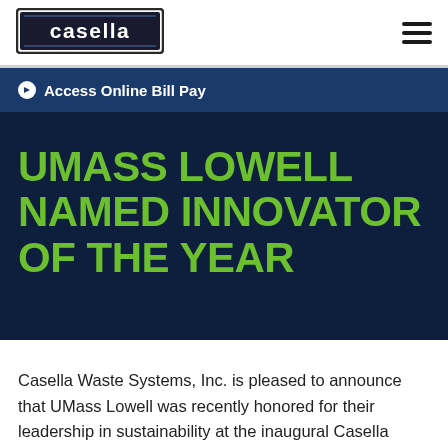[Figure (logo): Casella logo in rectangular border with white text on dark background]
Access Online Bill Pay
UMASS LOWELL NAMED INNOVATOR OF THE YEAR
Casella Waste Systems, Inc. is pleased to announce that UMass Lowell was recently honored for their leadership in sustainability at the inaugural Casella Sustainability Leadership